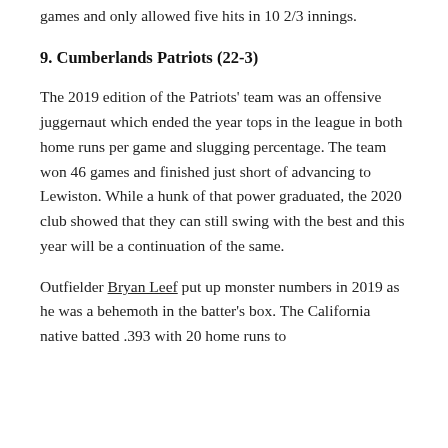games and only allowed five hits in 10 2/3 innings.
9. Cumberlands Patriots (22-3)
The 2019 edition of the Patriots' team was an offensive juggernaut which ended the year tops in the league in both home runs per game and slugging percentage. The team won 46 games and finished just short of advancing to Lewiston. While a hunk of that power graduated, the 2020 club showed that they can still swing with the best and this year will be a continuation of the same.
Outfielder Bryan Leef put up monster numbers in 2019 as he was a behemoth in the batter's box. The California native batted .393 with 20 home runs to